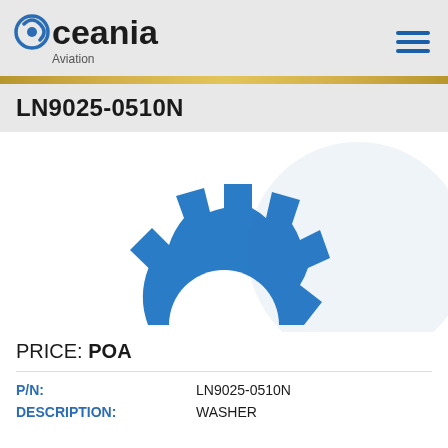Oceania Aviation
LN9025-0510N
[Figure (logo): Half-gear / cog icon in blue, representing a mechanical part placeholder image for Oceania Aviation]
PRICE: POA
P/N: LN9025-0510N
DESCRIPTION: WASHER